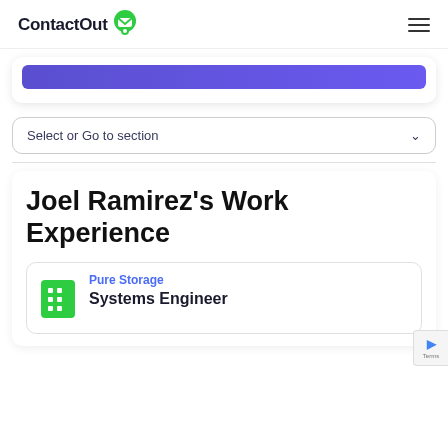ContactOut
[Figure (screenshot): Purple/blue button (partially visible) inside a white card with shadow]
Select or Go to section
Joel Ramirez's Work Experience
Pure Storage
Systems Engineer